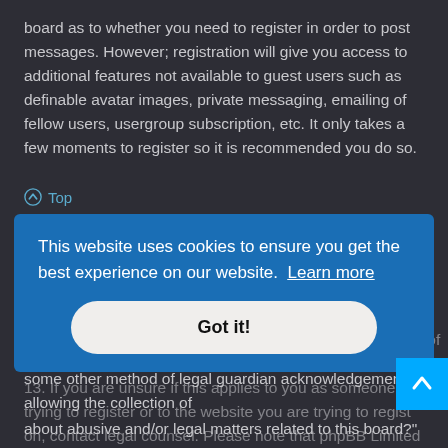board as to whether you need to register in order to post messages. However; registration will give you access to additional features not available to guest users such as definable avatar images, private messaging, emailing of fellow users, usergroup subscription, etc. It only takes a few moments to register so it is recommended you do so.
⬆ Top
What is COPPA?
COPPA, or the Children's Online Privacy Protection Act of 1998, is a law in the United States requiring websites which can potentially collect information from minors under the age of 13 to have written parental consent or some other method of legal guardian acknowledgement allowing the collection of personal information from a minor under the age of 13. If you are unsure if this applies to you as someone trying to register or to the website you are trying to register on, contact legal counsel. Please note that phpBB Limited and the owners of this board cannot provide legal advice and is not a point of contact for legal concerns of any kind, except as outlined in question 'Who do I contact about abusive and/or legal matters related to this board?'
[Figure (screenshot): Cookie consent banner overlay saying 'This website uses cookies to ensure you get the best experience on our website. Learn more' with a 'Got it!' button]
about abusive and/or legal matters related to this board?"